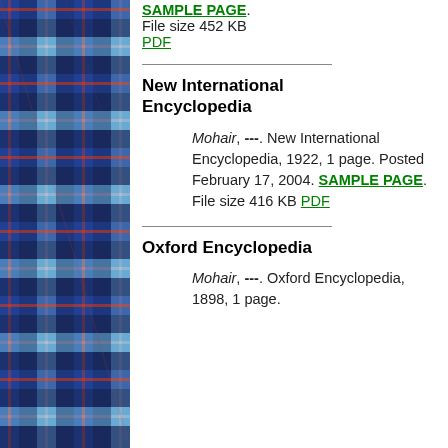[Figure (illustration): Blue, red, and white tartan/plaid textile pattern image running the full left column height]
File size 452 KB
PDF
New International Encyclopedia
Mohair, ---. New International Encyclopedia, 1922, 1 page. Posted February 17, 2004. SAMPLE PAGE. File size 416 KB PDF
Oxford Encyclopedia
Mohair, ---. Oxford Encyclopedia, 1898, 1 page.